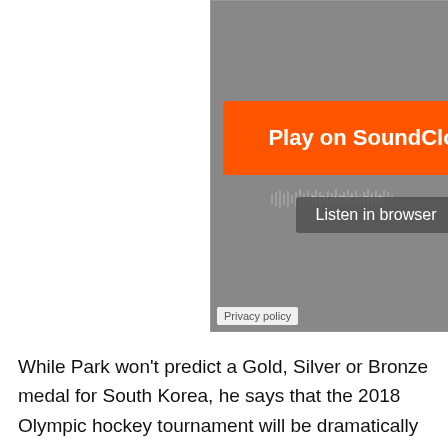[Figure (screenshot): SoundCloud embedded audio player widget with gray background, an orange 'Play on SoundCloud' button, a waveform area with a 'Listen in browser' dark overlay, and a 'Privacy policy' label at the bottom left.]
While Park won't predict a Gold, Silver or Bronze medal for South Korea, he says that the 2018 Olympic hockey tournament will be dramatically different from